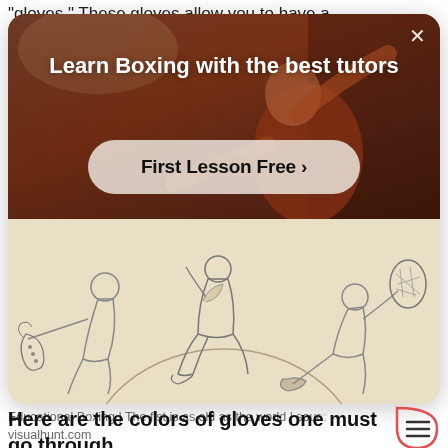"gloves." These gloves allow you to have a
[Figure (screenshot): Advertisement card overlay showing a boxing lesson promotion. Top half: dark warm-toned photo of a person in a boxing gym stance. White headline text: 'Learn Boxing with the best tutors'. A rounded white/translucent CTA button reading 'First Lesson Free ›'. Bottom half: beige/cream background with a line-art sketch illustration of figures in motion (ancient/classical style athletes). Close (X) button top right.]
Educational Boxing | The fist is as old as the world | source visualhunt.com
Here are the colors of gloves one must go through